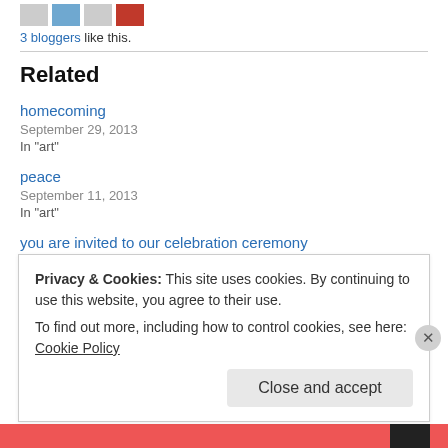[Figure (photo): Small blogger avatar images (gray, blue, red placeholders)]
3 bloggers like this.
Related
homecoming
September 29, 2013
In "art"
peace
September 11, 2013
In "art"
you are invited to our celebration ceremony
January 10, 2013
Privacy & Cookies: This site uses cookies. By continuing to use this website, you agree to their use.
To find out more, including how to control cookies, see here: Cookie Policy